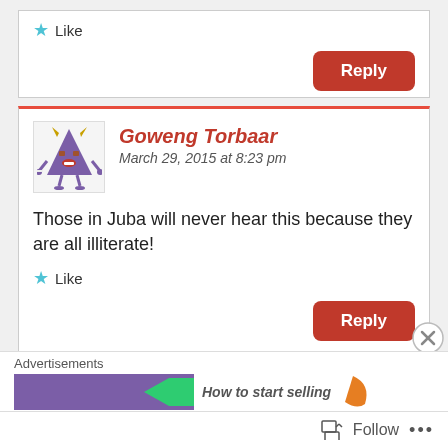Like
Reply
Goweng Torbaar
March 29, 2015 at 8:23 pm
Those in Juba will never hear this because they are all illiterate!
Like
Reply
Advertisements
How to start selling
Follow